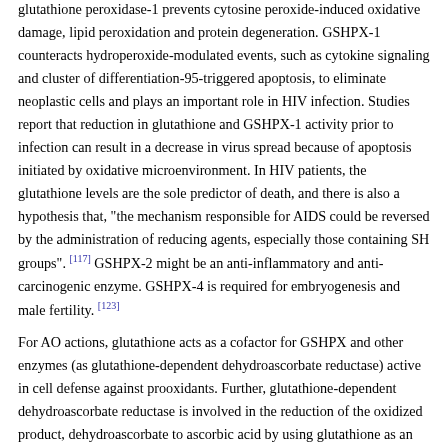glutathione peroxidase-1 prevents cytosine peroxide-induced oxidative damage, lipid peroxidation and protein degeneration. GSHPX-1 counteracts hydroperoxide-modulated events, such as cytokine signaling and cluster of differentiation-95-triggered apoptosis, to eliminate neoplastic cells and plays an important role in HIV infection. Studies report that reduction in glutathione and GSHPX-1 activity prior to infection can result in a decrease in virus spread because of apoptosis initiated by oxidative microenvironment. In HIV patients, the glutathione levels are the sole predictor of death, and there is also a hypothesis that, "the mechanism responsible for AIDS could be reversed by the administration of reducing agents, especially those containing SH groups". [117] GSHPX-2 might be an anti-inflammatory and anti-carcinogenic enzyme. GSHPX-4 is required for embryogenesis and male fertility. [123]
For AO actions, glutathione acts as a cofactor for GSHPX and other enzymes (as glutathione-dependent dehydroascorbate reductase) active in cell defense against prooxidants. Further, glutathione-dependent dehydroascorbate reductase is involved in the reduction of the oxidized product, dehydroascorbate to ascorbic acid by using glutathione as an electron donor (ascorbate recycling). It is thus a primary cellular tool in order to maintain steady state concentrations of ascorbic